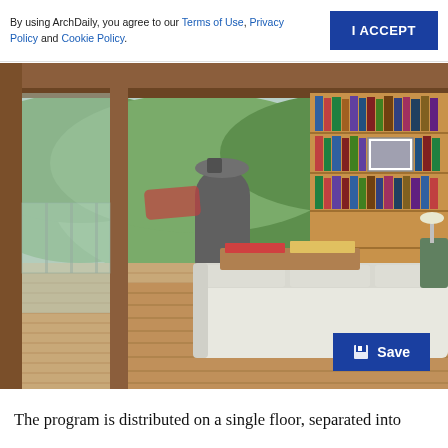By using ArchDaily, you agree to our Terms of Use, Privacy Policy and Cookie Policy.
I ACCEPT
[Figure (photo): Interior of a wooden house with a living room featuring white sofas, a wood-burning stove, floor-to-ceiling bookshelves filled with books and objects, wooden flooring, and large glass openings to a deck with mountain/valley views.]
Save
The program is distributed on a single floor, separated into